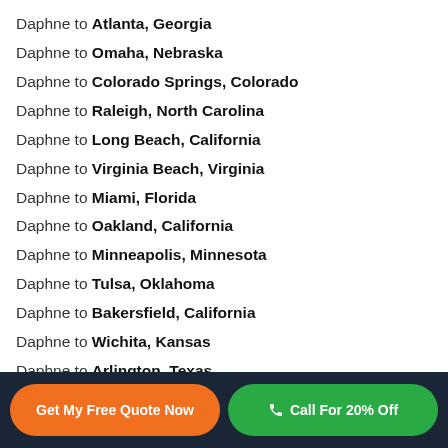Daphne to Atlanta, Georgia
Daphne to Omaha, Nebraska
Daphne to Colorado Springs, Colorado
Daphne to Raleigh, North Carolina
Daphne to Long Beach, California
Daphne to Virginia Beach, Virginia
Daphne to Miami, Florida
Daphne to Oakland, California
Daphne to Minneapolis, Minnesota
Daphne to Tulsa, Oklahoma
Daphne to Bakersfield, California
Daphne to Wichita, Kansas
Daphne to Arlington, Texas
Get My Free Quote Now | Call For 20% Off